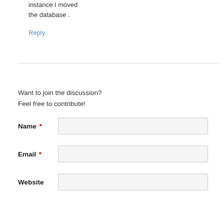instance I moved the database .
Reply
Want to join the discussion?
Feel free to contribute!
Name *
Email *
Website